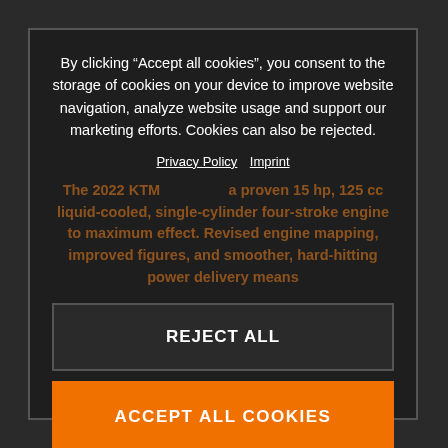By clicking “Accept all cookies”, you consent to the storage of cookies on your device to improve website navigation, analyze website usage and support our marketing efforts. Cookies can also be rejected.
Privacy Policy  Imprint
The 2022 KTM ... a proven 15 hp, 125 cc liquid-cooled, single-cylinder four-stroke engine to maximum effect. Revised engine mapping, improved figures, and smoother, hard-hitting power delivery means
REJECT ALL
ACCEPT ALL COOKIES